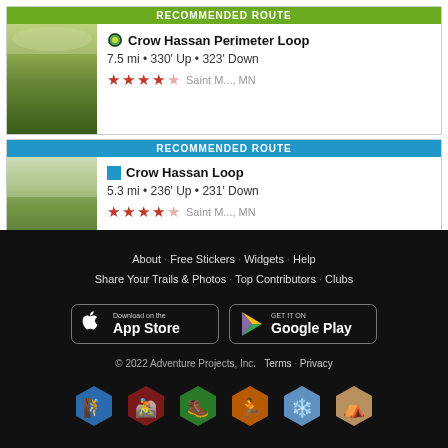RECOMMENDED ROUTE
Crow Hassan Perimeter Loop
7.5 mi · 330' Up · 323' Down
★★★★☆ Saint M..., MN
RECOMMENDED ROUTE
Crow Hassan Loop
5.3 mi · 236' Up · 231' Down
★★★★☆ Saint M..., MN
About · Free Stickers · Widgets · Help Share Your Trails & Photos · Top Contributors · Clubs Download on the App Store | GET IT ON Google Play © 2022 Adventure Projects, Inc. Terms · Privacy